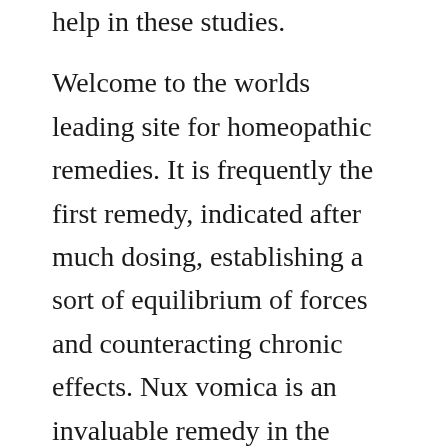help in these studies. Welcome to the worlds leading site for homeopathic remedies. It is frequently the first remedy, indicated after much dosing, establishing a sort of equilibrium of forces and counteracting chronic effects. Nux vomica is an invaluable remedy in the therapy of each of. The slightly sweet pellets melt under the tongue without water or further upsetting the stomach. Late professor of materia medica in hering college, chicago. Mure, james tyler kent, john henry clarke, henry c. It was translated in english by charles